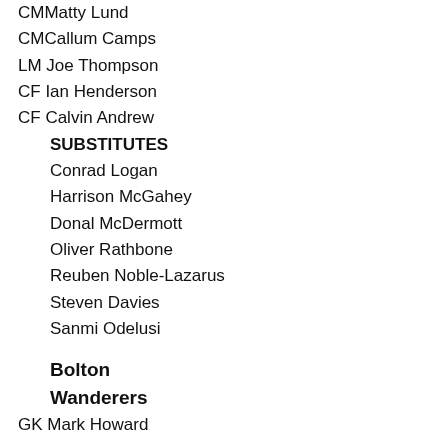CMMatty Lund
CMCallum Camps
LM Joe Thompson
CF Ian Henderson
CF Calvin Andrew
SUBSTITUTES
Conrad Logan
Harrison McGahey
Donal McDermott
Oliver Rathbone
Reuben Noble-Lazarus
Steven Davies
Sanmi Odelusi
Bolton Wanderers
GK Mark Howard